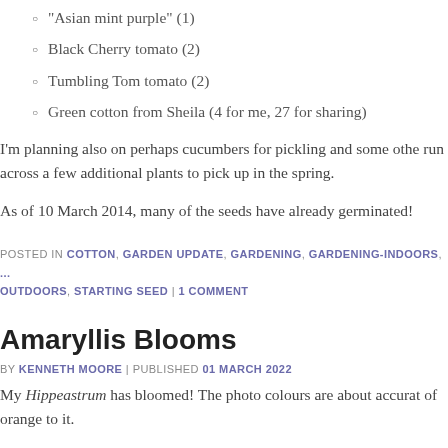"Asian mint purple" (1)
Black Cherry tomato (2)
Tumbling Tom tomato (2)
Green cotton from Sheila (4 for me, 27 for sharing)
I'm planning also on perhaps cucumbers for pickling and some othe run across a few additional plants to pick up in the spring.
As of 10 March 2014, many of the seeds have already germinated!
POSTED IN COTTON, GARDEN UPDATE, GARDENING, GARDENING-INDOORS, OUTDOORS, STARTING SEED | 1 COMMENT
Amaryllis Blooms
BY KENNETH MOORE | PUBLISHED 01 MARCH 2022
My Hippeastrum has bloomed! The photo colours are about accurat of orange to it.